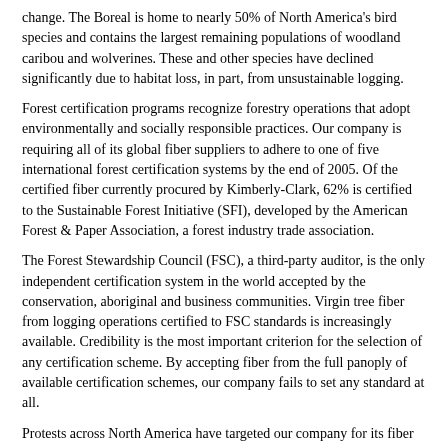change. The Boreal is home to nearly 50% of North America's bird species and contains the largest remaining populations of woodland caribou and wolverines. These and other species have declined significantly due to habitat loss, in part, from unsustainable logging.
Forest certification programs recognize forestry operations that adopt environmentally and socially responsible practices. Our company is requiring all of its global fiber suppliers to adhere to one of five international forest certification systems by the end of 2005. Of the certified fiber currently procured by Kimberly-Clark, 62% is certified to the Sustainable Forest Initiative (SFI), developed by the American Forest & Paper Association, a forest industry trade association.
The Forest Stewardship Council (FSC), a third-party auditor, is the only independent certification system in the world accepted by the conservation, aboriginal and business communities. Virgin tree fiber from logging operations certified to FSC standards is increasingly available. Credibility is the most important criterion for the selection of any certification scheme. By accepting fiber from the full panoply of available certification schemes, our company fails to set any standard at all.
Protests across North America have targeted our company for its fiber sourcing practices. Companies such as Home Depot, Lowe's, Ikea and Andersen Windows have FSC-certified wood procurement preferences. Major banks, such as JP Morgan Chase and Bank of America, have adopted policies limiting or prohibiting investment in companies and industries that negatively impact ancient forests.
JP Morgan Chase's 2005 Public Environmental Policy Statement states, “The Forest Stewardship Council (FSC) is one of the most robust high conservation